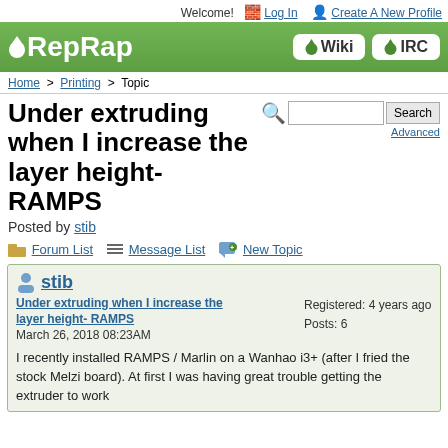Welcome!  Log In  Create A New Profile
[Figure (logo): RepRap green banner logo with Wiki and IRC buttons]
Home > Printing > Topic
Under extruding when I increase the layer height- RAMPS
Posted by stib
Forum List  Message List  New Topic
stib
Under extruding when I increase the layer height- RAMPS
March 26, 2018 08:23AM
Registered: 4 years ago
Posts: 6
I recently installed RAMPS / Marlin on a Wanhao i3+ (after I fried the stock Melzi board). At first I was having great trouble getting the extruder to work